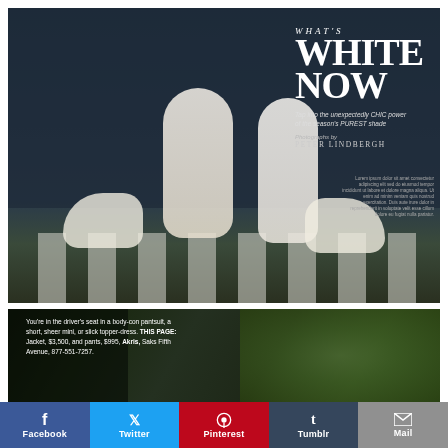[Figure (photo): Fashion editorial photo: two women in all-white outfits walking Dalmatian dogs on a crosswalk in front of an upscale storefront. Title overlay reads 'WHAT'S WHITE NOW' with subtitle text about the season's purest style, photographer credit PETER LINDBERGH. Small caption block in lower right of photo.]
WHAT'S WHITE NOW
Tap into the unexpectedly CHIC power of the season's PUREST shade
Photographs by PETER LINDBERGH
[Figure (photo): Partial fashion editorial photo showing a blurred outdoor scene with green foliage on the right, with caption text overlay on the left side.]
You're in the driver's seat in a body-con pantsuit, a short, sheer mini, or slick topper-dress. THIS PAGE: Jacket, $3,500, and pants, $995, Akris, Saks Fifth Avenue, 877-551-7257.
Facebook Twitter Pinterest Tumblr Mail